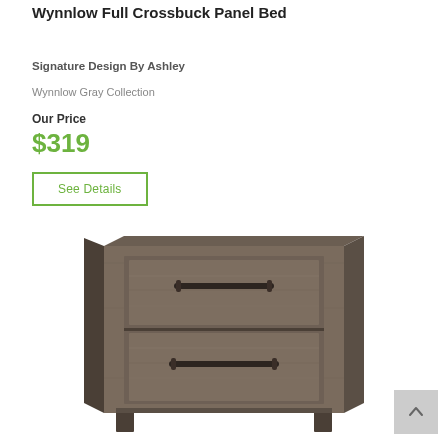Wynnlow Full Crossbuck Panel Bed
Signature Design By Ashley
Wynnlow Gray Collection
Our Price
$319
See Details
[Figure (photo): A gray wood-finished nightstand with two drawers with dark bar handles, shown from a slightly angled front view. The piece has a rustic, weathered wood texture in dark gray tones.]